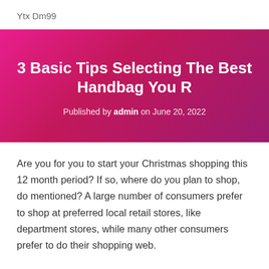Ytx Dm99
3 Basic Tips Selecting The Best Handbag You R
Published by admin on June 20, 2022
Are you for you to start your Christmas shopping this 12 month period? If so, where do you plan to shop, do mentioned? A large number of consumers prefer to shop at preferred local retail stores, like department stores, while many other consumers prefer to do their shopping web.